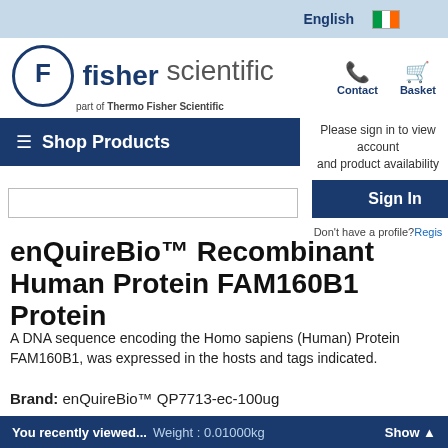English
[Figure (logo): Fisher Scientific logo - part of Thermo Fisher Scientific, with Contact and Basket navigation icons]
Shop Products
Please sign in to view account and product availability
Sign In
Don't have a profile? Regis...
enQuireBio™ Recombinant Human Protein FAM160B1 Protein
A DNA sequence encoding the Homo sapiens (Human) Protein FAM160B1, was expressed in the hosts and tags indicated.
Brand:  enQuireBio™ QP7713-ec-100ug
You recently viewed...  Weight : 0.01000kg  Show ▲